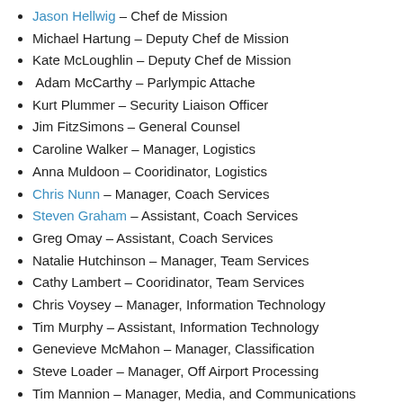Jason Hellwig – Chef de Mission
Michael Hartung – Deputy Chef de Mission
Kate McLoughlin – Deputy Chef de Mission
Adam McCarthy – Parlympic Attache
Kurt Plummer – Security Liaison Officer
Jim FitzSimons – General Counsel
Caroline Walker – Manager, Logistics
Anna Muldoon – Cooridinator, Logistics
Chris Nunn – Manager, Coach Services
Steven Graham – Assistant, Coach Services
Greg Omay – Assistant, Coach Services
Natalie Hutchinson – Manager, Team Services
Cathy Lambert – Cooridinator, Team Services
Chris Voysey – Manager, Information Technology
Tim Murphy – Assistant, Information Technology
Genevieve McMahon – Manager, Classification
Steve Loader – Manager, Off Airport Processing
Tim Mannion – Manager, Media, and Communications
Shaun Giles – Manager, Multimedia
Margie McDonald – Media Liaison Officer
Gennie Sheer – – Media Liaison Officer
Lachlan Searle – Media Liaison Officer
Chris Abbott – Media Liaison Officer